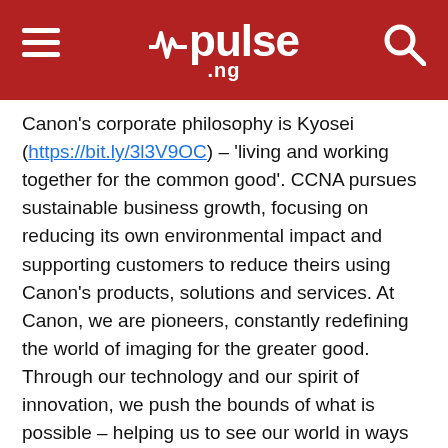pulse .ng
Canon's corporate philosophy is Kyosei (https://bit.ly/3l3V9OC) – 'living and working together for the common good'. CCNA pursues sustainable business growth, focusing on reducing its own environmental impact and supporting customers to reduce theirs using Canon's products, solutions and services. At Canon, we are pioneers, constantly redefining the world of imaging for the greater good. Through our technology and our spirit of innovation, we push the bounds of what is possible – helping us to see our world in ways we never have before. We help bring creativity to life, one image at a time. Because when we can see our world, we can transform it for the better.
For more information: Canon-CNA.com
Media files